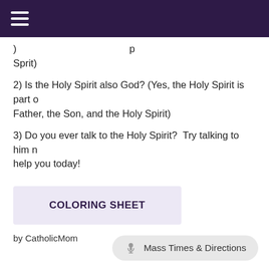... Sprit)
2) Is the Holy Spirit also God? (Yes, the Holy Spirit is part of the Father, the Son, and the Holy Spirit)
3) Do you ever talk to the Holy Spirit?  Try talking to him now and ask him to help you today!
COLORING SHEET
by CatholicMom
Mass Times & Directions